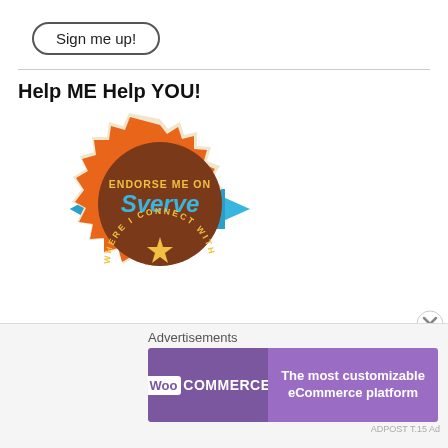[Figure (other): Sign me up! button with rounded border]
Help ME Help YOU!
[Figure (logo): Sverve badge: orange seal with text ENDORSE ME ON sverve WHERE I CONNECT WITH BRANDS, blue ribbon on sides, gold star at center]
Advertisements
[Figure (other): WooCommerce advertisement banner: purple background, WooCommerce logo on left, text 'The most customizable eCommerce platform' on right]